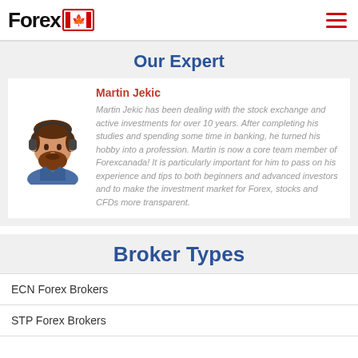Forex Canada (logo with Canadian flag)
Our Expert
Martin Jekic
Martin Jekic has been dealing with the stock exchange and active investments for over 10 years. After completing his studies and spending some time in banking, he turned his hobby into a profession. Martin is now a core team member of Forexcanada! It is particularly important for him to pass on his experience and tips to both beginners and advanced investors and to make the investment market for Forex, stocks and CFDs more transparent.
Broker Types
ECN Forex Brokers
STP Forex Brokers